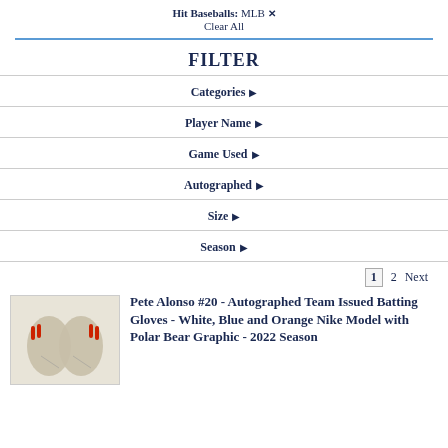Hit Baseballs: MLB ✕
Clear All
FILTER
Categories ▶
Player Name ▶
Game Used ▶
Autographed ▶
Size ▶
Season ▶
1  2  Next
[Figure (photo): Photo of batting gloves - white, blue and orange Nike model with polar bear graphic, used/worn appearance]
Pete Alonso #20 - Autographed Team Issued Batting Gloves - White, Blue and Orange Nike Model with Polar Bear Graphic - 2022 Season